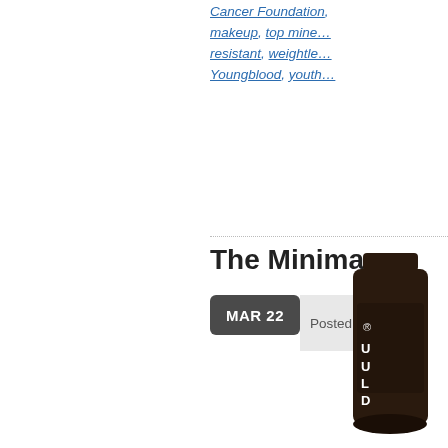Cancer Foundation, makeup, top mineral resistant, weightless, Youngblood, youth
The Minima…
MAR 22 Posted …
[Figure (photo): Dark brown cosmetic tube product (partially visible at bottom right corner)]